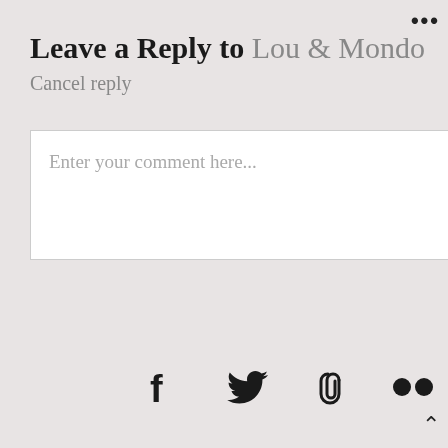Leave a Reply to Lou & Mondo
Cancel reply
Enter your comment here...
[Figure (infographic): Social media icons: Facebook, Twitter, link/paperclip, Flickr, YouTube]